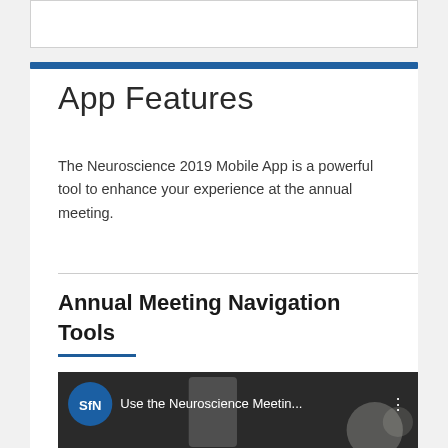App Features
The Neuroscience 2019 Mobile App is a powerful tool to enhance your experience at the annual meeting.
Annual Meeting Navigation Tools
[Figure (screenshot): Video thumbnail showing 'Use the Neuroscience Meetin...' with SfN logo circle and phone image on dark background]